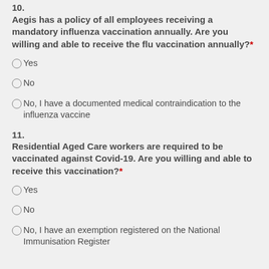10.
Aegis has a policy of all employees receiving a mandatory influenza vaccination annually. Are you willing and able to receive the flu vaccination annually?*
Yes
No
No, I have a documented medical contraindication to the influenza vaccine
11.
Residential Aged Care workers are required to be vaccinated against Covid-19. Are you willing and able to receive this vaccination?*
Yes
No
No, I have an exemption registered on the National Immunisation Register